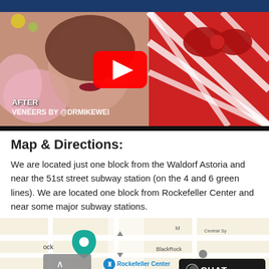[Figure (screenshot): YouTube video thumbnail showing a woman's face with dark lips and pink feathers, with text 'AFTER VENEERS BY @DRMIKEWEI' and a YouTube play button, alongside a red and white striped gift on the right side.]
Map & Directions:
We are located just one block from the Waldorf Astoria and near the 51st street subway station (on the 4 and 6 green lines). We are located one block from Rockefeller Center and near some major subway stations.
[Figure (map): Google Maps screenshot showing Rockefeller Center area with 5th Ave, BlackRock, Central Sy(ndicate) visible, with a CHAT button overlay in the bottom right.]